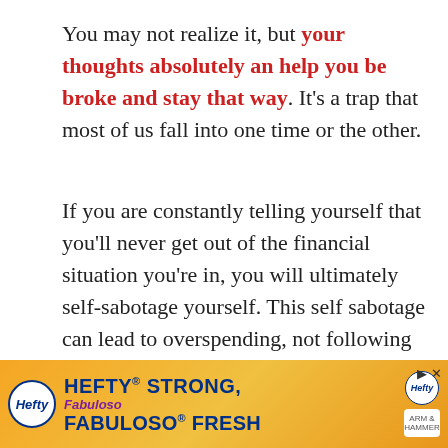You may not realize it, but your thoughts absolutely an help you be broke and stay that way. It's a trap that most of us fall into one time or the other.
If you are constantly telling yourself that you'll never get out of the financial situation you're in, you will ultimately self-sabotage yourself. This self sabotage can lead to overspending, not following your budget and more.
Seriously, Just try being positive for a wh...
[Figure (other): Advertisement banner for Hefty and Fabuloso products reading 'HEFTY STRONG, FABULOSO FRESH' with orange and yellow gradient background, Hefty logo on left, small Hefty logo on right, close button top right.]